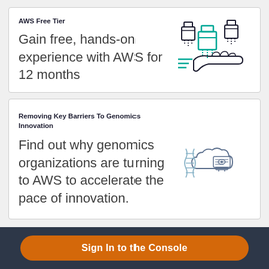AWS Free Tier

Gain free, hands-on experience with AWS for 12 months
[Figure (illustration): Icon of boxes falling into an outstretched hand, teal and dark blue colors, representing cloud service packages]
Removing Key Barriers To Genomics Innovation

Find out why genomics organizations are turning to AWS to accelerate the pace of innovation.
[Figure (illustration): Icon of a DNA helix with a cloud and computer monitor, representing genomics and cloud computing]
Sign In to the Console